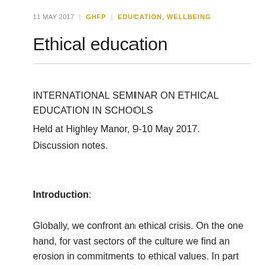11 MAY 2017 | GHFP | EDUCATION, WELLBEING
Ethical education
INTERNATIONAL SEMINAR ON ETHICAL EDUCATION IN SCHOOLS
Held at Highley Manor, 9-10 May 2017.
Discussion notes.
Introduction:
Globally, we confront an ethical crisis. On the one hand, for vast sectors of the culture we find an erosion in commitments to ethical values. In part